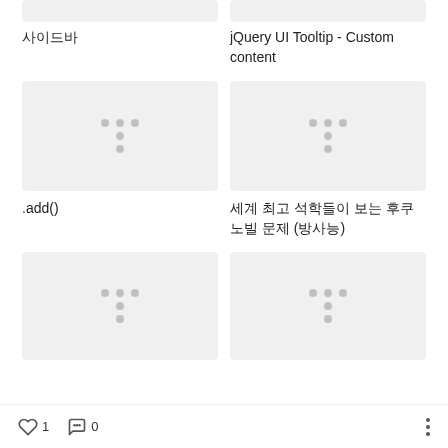[Figure (screenshot): Top partial image placeholder (left column, cropped at top)]
[Figure (screenshot): Top partial image placeholder (right column, cropped at top)]
사이드바
jQuery UI Tooltip - Custom content
[Figure (screenshot): Image placeholder with loading dots (left column, second row)]
[Figure (screenshot): Image placeholder with loading dots (right column, second row)]
.add()
세계 최고 석학들이 보는 후쿠노빌 문제 (방사능)
[Figure (screenshot): Image placeholder with loading dots (left column, third row, partially visible)]
[Figure (screenshot): Image placeholder with loading dots (right column, third row, partially visible)]
1   0